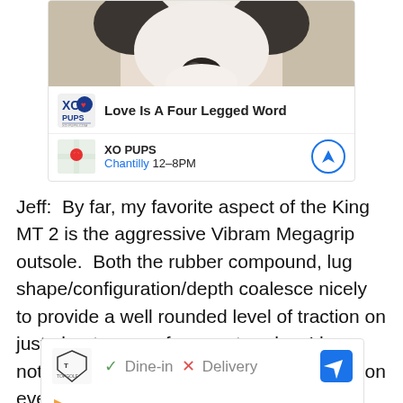[Figure (photo): Ad card showing a close-up photo of a dog face (white and black fur, visible nose), with XO PUPS branding, title 'Love Is A Four Legged Word', location XO PUPS Chantilly 12-8PM with map thumbnail and navigation icon]
Jeff:  By far, my favorite aspect of the King MT 2 is the aggressive Vibram Megagrip outsole.  Both the rubber compound, lug shape/configuration/depth coalesce nicely to provide a well rounded level of traction on just about any surface, wet or dry.  I have not had a single slip and have used them on every conceivable surface, but would say that given the overall lug
[Figure (screenshot): Ad card for Topgolf showing checkmark Dine-in and X Delivery options, with navigation arrow icon, play icon and close icon below]